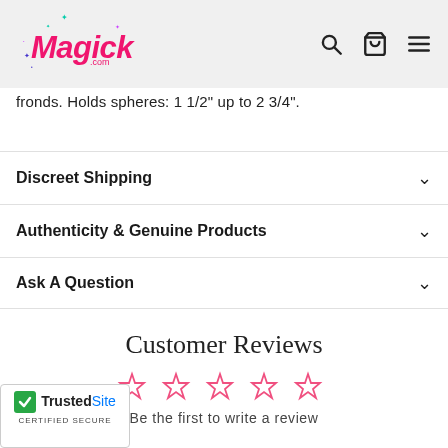[Figure (logo): Magick.com logo in pink cursive with sparkle stars, with search, cart, and hamburger menu icons on the right]
fronds. Holds spheres: 1 1/2" up to 2 3/4".
Discreet Shipping
Authenticity & Genuine Products
Ask A Question
Customer Reviews
Be the first to write a review
[Figure (logo): TrustedSite Certified Secure badge]